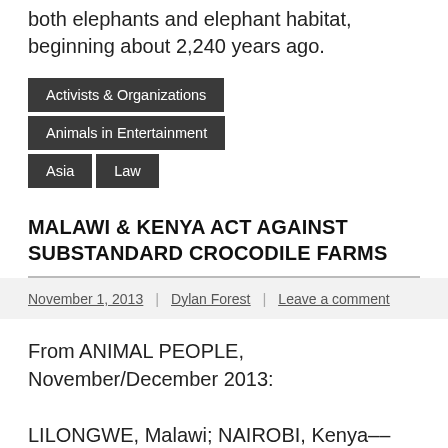protecting both elephants and elephant habitat, beginning about 2,240 years ago.
Activists & Organizations
Animals in Entertainment
Asia
Law
MALAWI & KENYA ACT AGAINST SUBSTANDARD CROCODILE FARMS
November 1, 2013 | Dylan Forest | Leave a comment
From ANIMAL PEOPLE, November/December 2013:
LILONGWE, Malawi; NAIROBI, Kenya––The Lilongwe SPCA,
Lilongwe Wildlife Centre, the Malawi Department of